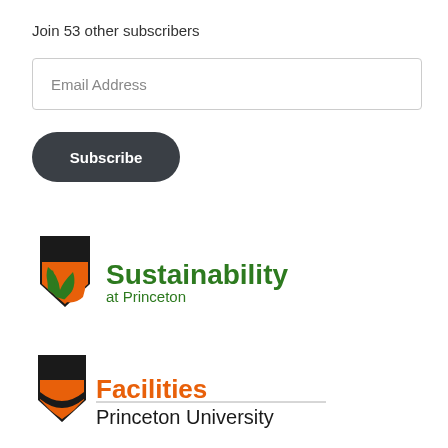Join 53 other subscribers
Email Address
Subscribe
[Figure (logo): Sustainability at Princeton logo — shield with orange and green leaf motifs, text 'Sustainability at Princeton' in green]
[Figure (logo): Facilities Princeton University logo — shield with orange and black chevron, text 'Facilities Princeton University' in orange and black]